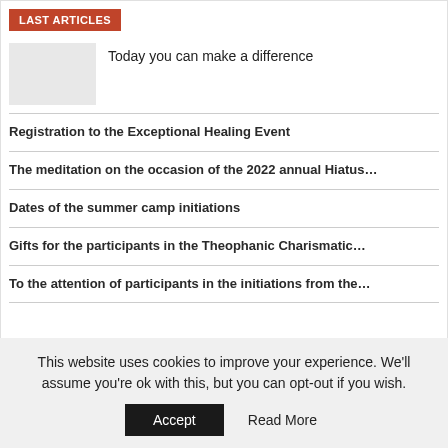LAST ARTICLES
Today you can make a difference
Registration to the Exceptional Healing Event
The meditation on the occasion of the 2022 annual Hiatus…
Dates of the summer camp initiations
Gifts for the participants in the Theophanic Charismatic…
To the attention of participants in the initiations from the…
This website uses cookies to improve your experience. We'll assume you're ok with this, but you can opt-out if you wish.